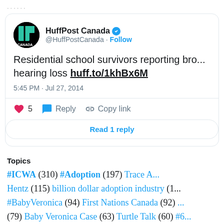[Figure (screenshot): Twitter/X tweet from HuffPost Canada (@HuffPostCanada) with verified badge, text: 'Residential school survivors reporting bro... hearing loss huff.to/1khBx6M', timestamp: 5:45 PM · Jul 27, 2014, 5 likes, Reply and Copy link actions, Read 1 reply button]
Topics
#ICWA (310) #Adoption (197) Trace A... Hentz (115) billion dollar adoption industry (1... #BabyVeronica (94) First Nations Canada (92) ... (79) Baby Veronica Case (63) Turtle Talk (60) #6... #Propaganda #ICWA (49) Canada genocide (47) ... American Indian Adoptees (45) Split feat...